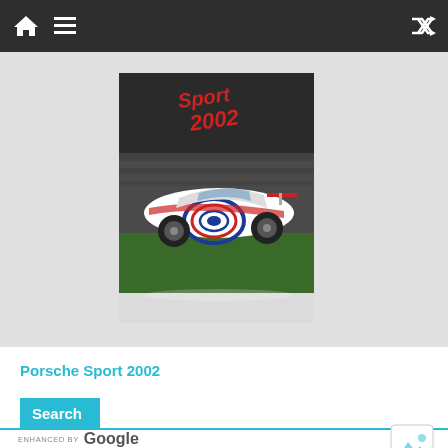[Figure (screenshot): Mobile app navigation bar with home icon, hamburger menu icon on left, and shuffle icon on right, dark background]
[Figure (photo): Porsche Sport 2002 race car book cover showing a Porsche race car with colorful livery on a racetrack, with 'Sport 2002' text in red]
Porsche Sport 2002
Search
ENHANCED BY Google